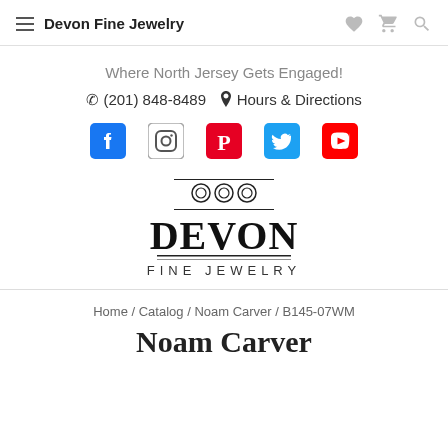Devon Fine Jewelry
Where North Jersey Gets Engaged!
(201) 848-8489  Hours & Directions
[Figure (infographic): Social media icons row: Facebook, Instagram, Pinterest, Twitter, YouTube]
[Figure (logo): Devon Fine Jewelry logo with decorative header and horizontal rules]
Home / Catalog / Noam Carver / B145-07WM
Noam Carver